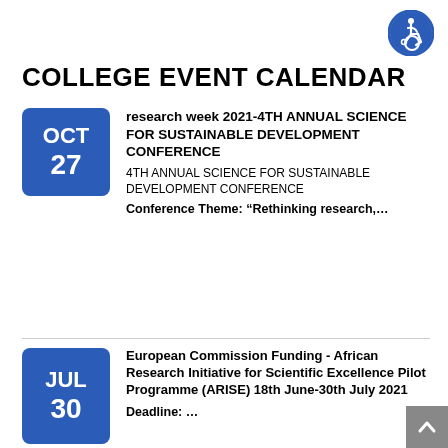[Figure (logo): Blue circle accessibility icon with wheelchair user symbol in white, top right corner]
COLLEGE EVENT CALENDAR
OCT 27 — research week 2021-4TH ANNUAL SCIENCE FOR SUSTAINABLE DEVELOPMENT CONFERENCE
4TH ANNUAL SCIENCE FOR SUSTAINABLE DEVELOPMENT CONFERENCE
Conference Theme: “Rethinking research,…
JUL 30 — European Commission Funding - African Research Initiative for Scientific Excellence Pilot Programme (ARISE) 18th June-30th July 2021
Deadline: …